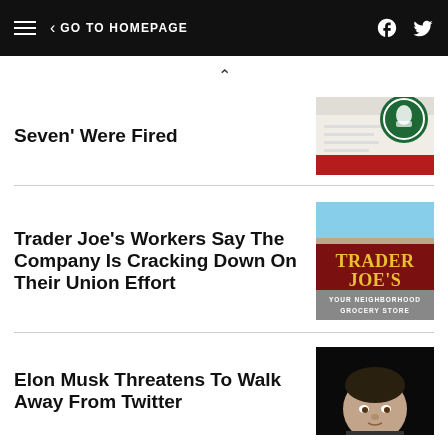GO TO HOMEPAGE
Seven’ Were Fired
[Figure (photo): Starbucks logo on green circular badge over documents with red strip at bottom]
Trader Joe’s Workers Say The Company Is Cracking Down On Their Union Effort
[Figure (photo): Trader Joe's store sign reading TRADER JOE'S YOUR NEIGHBORHOOD GROCERY STORE on a red background with yellow lettering]
Elon Musk Threatens To Walk Away From Twitter
[Figure (photo): Photo of Elon Musk against dark background]